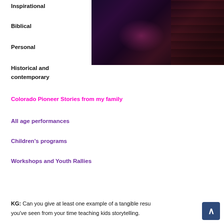Inspirational
Biblical
Personal
Historical and contemporary
[Figure (photo): Dark stage or backstage photo with purple and pink lighting, curtains visible on right side]
Colorado Pioneer Stories from my family
All age performances
Children's programs
Workshops and Youth Rallies
KG: Can you give at least one example of a tangible result you've seen from your time teaching kids storytelling.